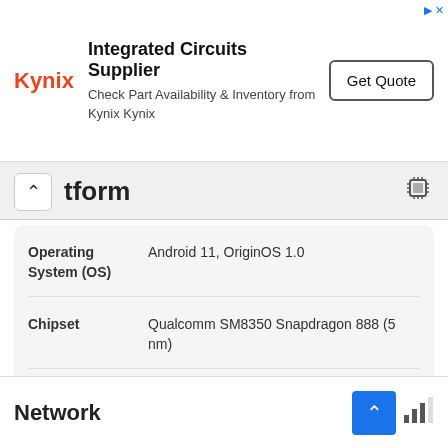[Figure (screenshot): Kynix advertisement banner: Kynix logo, 'Integrated Circuits Supplier' title, 'Check Part Availability & Inventory from Kynix Kynix' subtitle, and 'Get Quote' button]
tform
| Property | Value |
| --- | --- |
| Operating System (OS) | Android 11, OriginOS 1.0 |
| Chipset | Qualcomm SM8350 Snapdragon 888 (5 nm) |
| Processor (CPU) | Octa-core (1x2.84 GHz Kryo 680 & 3x2.42 GHz Kryo 680 & 4x1.80 GHz Kryo 680 |
| Graphics Processing | Adreno 660 |
Network